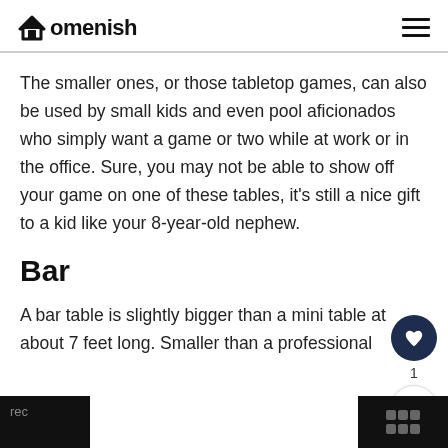Homenish
The smaller ones, or those tabletop games, can also be used by small kids and even pool aficionados who simply want a game or two while at work or in the office. Sure, you may not be able to show off your game on one of these tables, it's still a nice gift to a kid like your 8-year-old nephew.
Bar
A bar table is slightly bigger than a mini table at about 7 feet long. Smaller than a professional rec